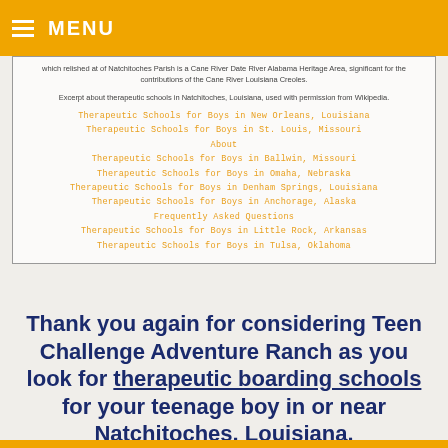MENU
which relished at of Natchitoches Parish is a Cane River Date River Alabama Heritage Area, significant for the contributions of the Cane River Louisiana Creoles.
Excerpt about therapeutic schools in Natchitoches, Louisiana, used with permission from Wikipedia.
Therapeutic Schools for Boys in New Orleans, Louisiana
Therapeutic Schools for Boys in St. Louis, Missouri
About
Therapeutic Schools for Boys in Ballwin, Missouri
Therapeutic Schools for Boys in Omaha, Nebraska
Therapeutic Schools for Boys in Denham Springs, Louisiana
Therapeutic Schools for Boys in Anchorage, Alaska
Frequently Asked Questions
Therapeutic Schools for Boys in Little Rock, Arkansas
Therapeutic Schools for Boys in Tulsa, Oklahoma
Thank you again for considering Teen Challenge Adventure Ranch as you look for therapeutic boarding schools for your teenage boy in or near Natchitoches, Louisiana.